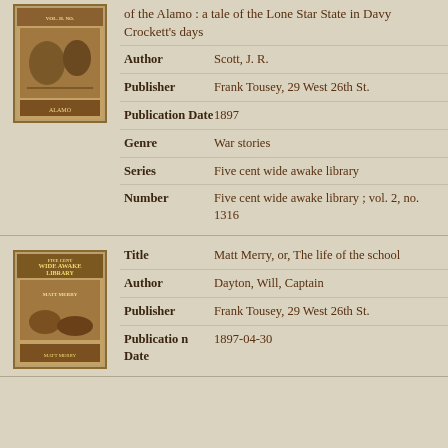[Figure (illustration): Book cover thumbnail for a Wild West / Alamo story, showing figures in action scene, worn brown cover]
|  | of the Alamo : a tale of the Lone Star State in Davy Crockett's days |
| Author | Scott, J. R. |
| Publisher | Frank Tousey, 29 West 26th St. |
| Publication Date | 1897 |
| Genre | War stories |
| Series | Five cent wide awake library |
| Number | Five cent wide awake library ; vol. 2, no. 1316 |
[Figure (illustration): Book cover thumbnail for Wide Awake Library - Matt Merry, showing figures, worn sepia cover]
| Title | Matt Merry, or, The life of the school |
| Author | Dayton, Will, Captain |
| Publisher | Frank Tousey, 29 West 26th St. |
| Publication Date | 1897-04-30 |